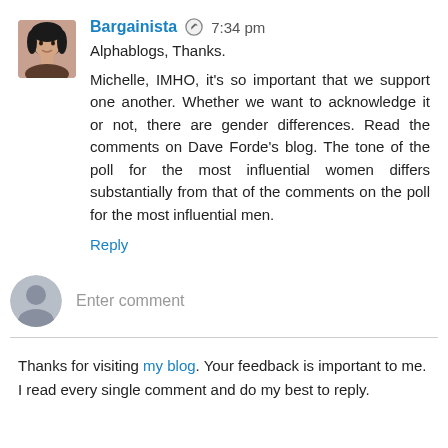Bargainista  7:34 pm
Alphablogs, Thanks.

Michelle, IMHO, it's so important that we support one another. Whether we want to acknowledge it or not, there are gender differences. Read the comments on Dave Forde's blog. The tone of the poll for the most influential women differs substantially from that of the comments on the poll for the most influential men.
Reply
Enter comment
Thanks for visiting my blog. Your feedback is important to me. I read every single comment and do my best to reply.